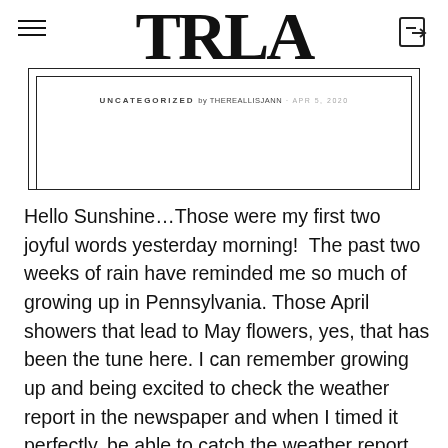TRLA
[Figure (screenshot): Blog card with nested border frames, UNCATEGORIZED by THEREALLISJANN · APR 5, 2020 text]
Hello Sunshine…Those were my first two joyful words yesterday morning!  The past two weeks of rain have reminded me so much of growing up in Pennsylvania. Those April showers that lead to May flowers, yes, that has been the tune here. I can remember growing up and being excited to check the weather report in the newspaper and when I timed it perfectly, be able to catch the weather report on the local news. This was a way before the weather channel